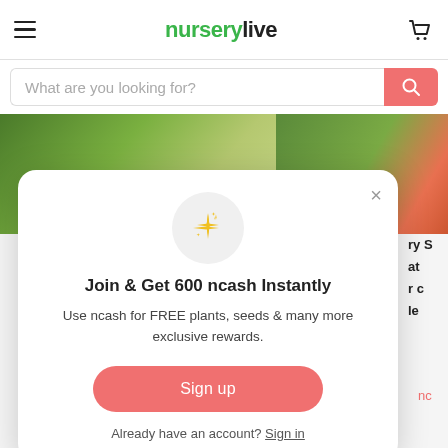nurserylive
What are you looking for?
[Figure (screenshot): Background image of vegetables and plants, split into two sections]
[Figure (infographic): Modal popup with sparkle icon, title 'Join & Get 600 ncash Instantly', description text, Sign up button, and Sign in link]
Join & Get 600 ncash Instantly
Use ncash for FREE plants, seeds & many more exclusive rewards.
Sign up
Already have an account? Sign in
See more >